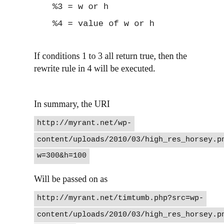%3 = w or h
%4 = value of w or h
If conditions 1 to 3 all return true, then the rewrite rule in 4 will be executed.
In summary, the URI
http://myrant.net/wp-content/uploads/2010/03/high_res_horsey.png?w=300&h=100
Will be passed on as
http://myrant.net/timtumb.php?src=wp-content/uploads/2010/03/high_res_horsey.png&w=300&h=100